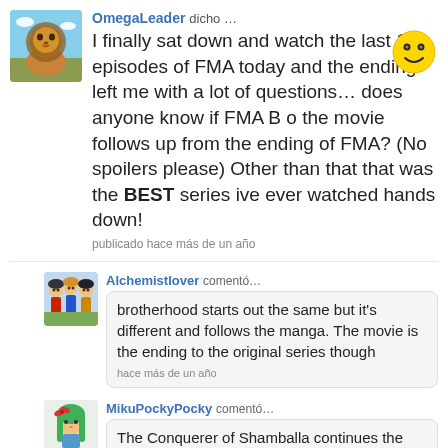OmegaLeader dicho …
I finally sat down and watch the last 10 episodes of FMA today and the ending left me with a lot of questions… does anyone know if FMA B o the movie follows up from the ending of FMA? (No spoilers please) Other than that that was the BEST series ive ever watched hands down!
publicado hace más de un año
Alchemistlover comentó…
brotherhood starts out the same but it's different and follows the manga. The movie is the ending to the original series though
hace más de un año
MikuPockyPocky comentó…
The Conquerer of Shamballa continues the original FMA story line. Brotherhood follows the manga, which is different than the first FMA series. The other movie, Sacred estrella of